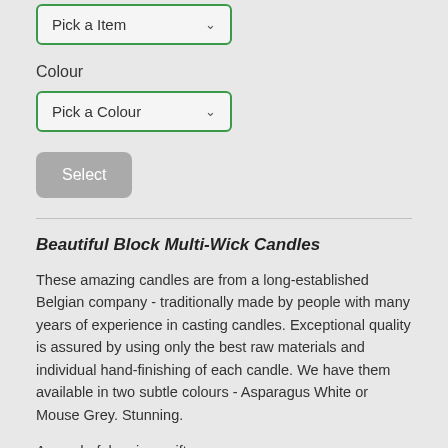[Figure (screenshot): A dropdown UI element with green border labeled 'Pick a Item' with a down arrow]
Colour
[Figure (screenshot): A dropdown UI element with green border labeled 'Pick a Colour' with a down arrow]
[Figure (screenshot): A grey 'Select' button]
Beautiful Block Multi-Wick Candles
These amazing candles are from a long-established Belgian company - traditionally made by people with many years of experience in casting candles. Exceptional quality is assured by using only the best raw materials and individual hand-finishing of each candle. We have them available in two subtle colours - Asparagus White or Mouse Grey. Stunning.
A wonderful, unique gift.
We have a simple glass box lantern available that takes the 4 wick candle (see here), otherwise you can always use something of